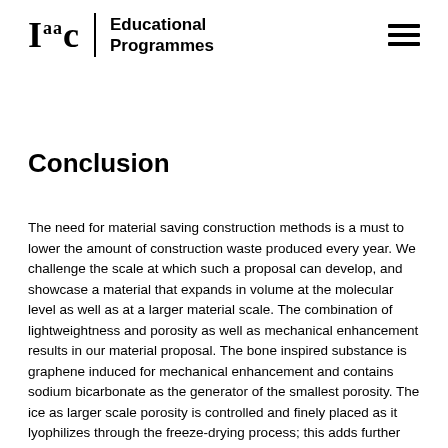Iaac | Educational Programmes
Conclusion
The need for material saving construction methods is a must to lower the amount of construction waste produced every year. We challenge the scale at which such a proposal can develop, and showcase a material that expands in volume at the molecular level as well as at a larger material scale. The combination of lightweightness and porosity as well as mechanical enhancement results in our material proposal. The bone inspired substance is graphene induced for mechanical enhancement and contains sodium bicarbonate as the generator of the smallest porosity. The ice as larger scale porosity is controlled and finely placed as it lyophilizes through the freeze-drying process; this adds further lightweightness as areas under less stress and tension become material saving.